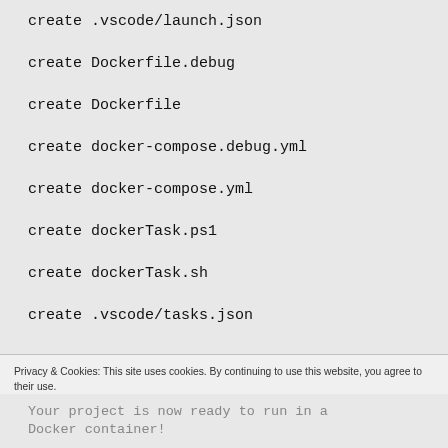create .vscode/launch.json
create Dockerfile.debug
create Dockerfile
create docker-compose.debug.yml
create docker-compose.yml
create dockerTask.ps1
create dockerTask.sh
create .vscode/tasks.json
Privacy & Cookies: This site uses cookies. By continuing to use this website, you agree to their use.
To find out more, including how to control cookies, see here: Cookie Policy
Close and accept
Your project is now ready to run in a Docker container!